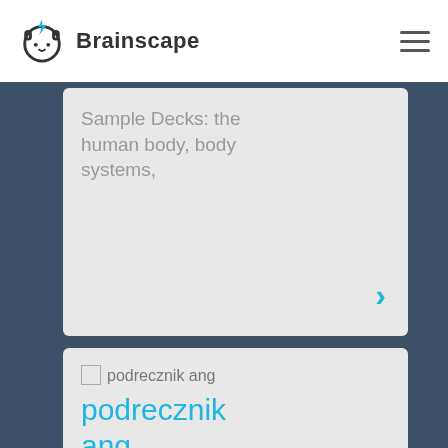[Figure (logo): Brainscape logo: circular animal face icon with blue lightning bolt on top, next to bold text 'Brainscape']
Sample Decks: the human body, body systems,
podrecznik ang
podrecznik ang
FLASHCARD MAKER
KLAUDIA BBB
1,441 Cards –
12 Decks –
4 Learners
Sample Decks: The